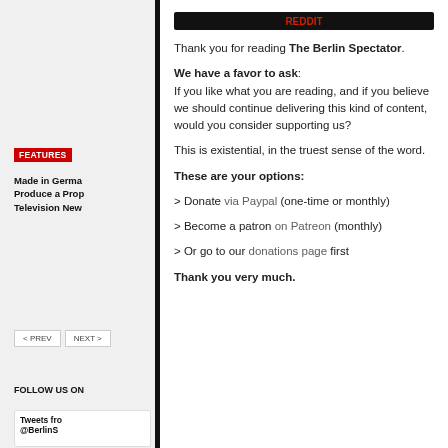[Figure (screenshot): Left sidebar showing FEATURES badge, article title 'Made in Germa[ny]... Produce a Prop[erly]... Television New[s]...', PREV/NEXT navigation buttons, FOLLOW US ON label, and Tweets from @BerlinS... section]
Thank you for reading The Berlin Spectator.
We have a favor to ask: If you like what you are reading, and if you believe we should continue delivering this kind of content, would you consider supporting us?
This is existential, in the truest sense of the word.
These are your options:
> Donate via Paypal (one-time or monthly)
> Become a patron on Patreon (monthly)
> Or go to our donations page first
Thank you very much.